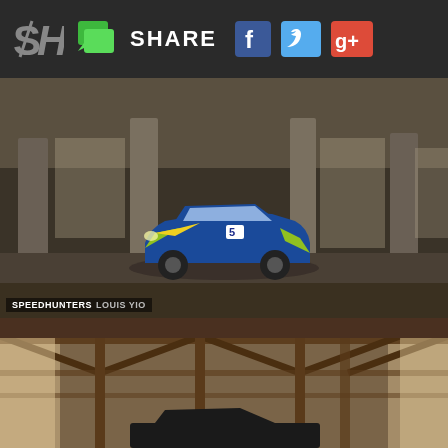SH | SHARE [Facebook] [Twitter] [Google+]
[Figure (photo): Rally car (Subaru Impreza WRC livery, blue with yellow/green decals) parked inside an abandoned industrial building with concrete columns. Speedhunters / Louis Yio watermark at bottom left.]
But with 2.0bar (29.4psi) boost pressure, anti-lag, and a Prodrive 6-speed semi-automatic gearbox in the mix, this is a quick car.
[Figure (photo): Interior of a large wooden barn/warehouse structure with heavy timber trusses and beams. A dark car is partially visible at the bottom of the frame.]